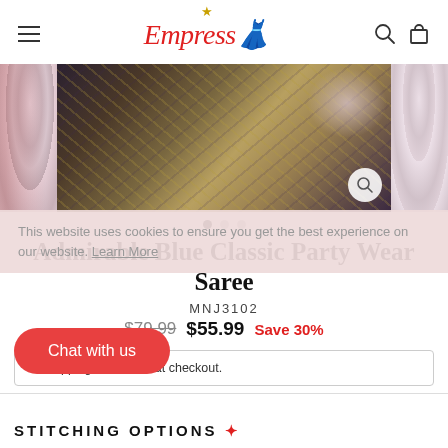Empress [logo with crown and shopping icons]
[Figure (photo): Product carousel showing a blue and gold classic saree with floral decorations on the sides. Three dot navigation indicators below.]
Admirable Blue Classic Party Wear Saree
MNJ3102
$79.99  $55.99  Save 30%
This website uses cookies to ensure you get the best experience on our website. Learn More
Shipping calculated at checkout.
Chat with us
STITCHING OPTIONS ✦